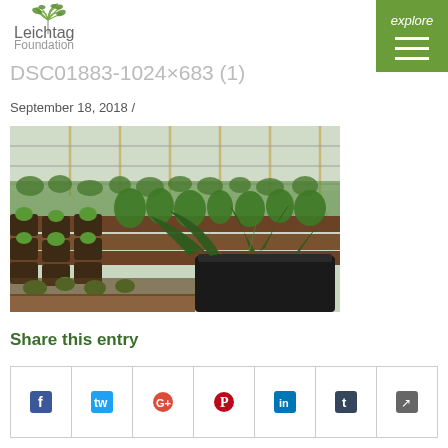Leichtag Foundation
DSC0188 3-1024×683 (1)
September 18, 2018 /
[Figure (photo): Photograph of a community garden with raised garden beds, vegetable plants including large leafy greens in a black container in the foreground, and trellises in the background.]
Share this entry